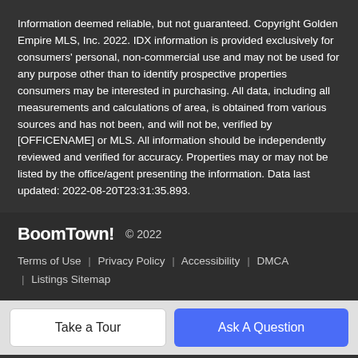Information deemed reliable, but not guaranteed. Copyright Golden Empire MLS, Inc. 2022. IDX information is provided exclusively for consumers' personal, non-commercial use and may not be used for any purpose other than to identify prospective properties consumers may be interested in purchasing. All data, including all measurements and calculations of area, is obtained from various sources and has not been, and will not be, verified by [OFFICENAME] or MLS. All information should be independently reviewed and verified for accuracy. Properties may or may not be listed by the office/agent presenting the information. Data last updated: 2022-08-20T23:31:35.893.
BoomTown! © 2022  Terms of Use | Privacy Policy | Accessibility | DMCA | Listings Sitemap
Take a Tour
Ask A Question